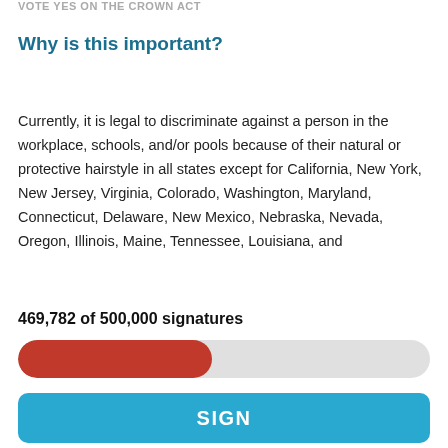VOTE YES ON THE CROWN ACT
Why is this important?
Currently, it is legal to discriminate against a person in the workplace, schools, and/or pools because of their natural or protective hairstyle in all states except for California, New York, New Jersey, Virginia, Colorado, Washington, Maryland, Connecticut, Delaware, New Mexico, Nebraska, Nevada, Oregon, Illinois, Maine, Tennessee, Louisiana, and
469,782 of 500,000 signatures
[Figure (infographic): Progress bar showing approximately 47% filled in red, representing 469,782 of 500,000 signatures collected.]
SIGN